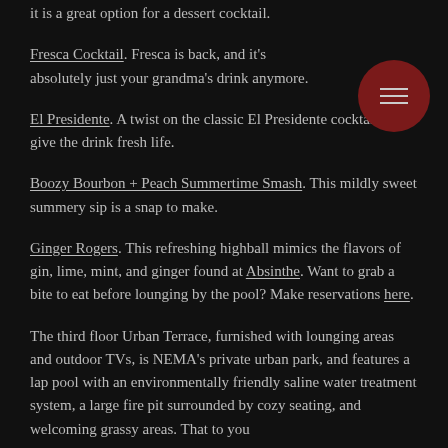it is a great option for a dessert cocktail.
Fresca Cocktail. Fresca is back, and it's absolutely just your grandma's drink anymore.
El Presidente. A twist on the classic El Presidente cocktail to give the drink fresh life.
Boozy Bourbon + Peach Summertime Smash. This mildly sweet summery sip is a snap to make.
Ginger Rogers. This refreshing highball mimics the flavors of gin, lime, mint, and ginger found at Absinthe. Want to grab a bite to eat before lounging by the pool? Make reservations here.
The third floor Urban Terrace, furnished with lounging areas and outdoor TVs, is NEMA's private urban park, and features a lap pool with an environmentally friendly saline water treatment system, a large fire pit surrounded by cozy seating, and welcoming grassy areas. That to you